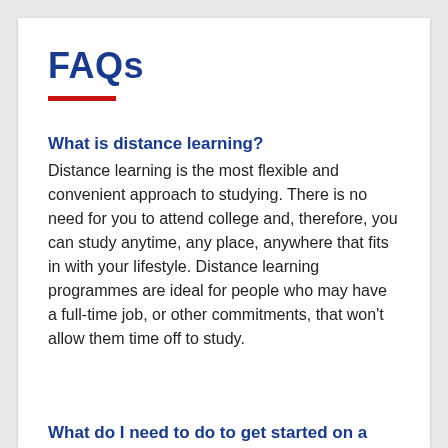FAQs
What is distance learning?
Distance learning is the most flexible and convenient approach to studying. There is no need for you to attend college and, therefore, you can study anytime, any place, anywhere that fits in with your lifestyle. Distance learning programmes are ideal for people who may have a full-time job, or other commitments, that won't allow them time off to study.
What do I need to do to get started on a